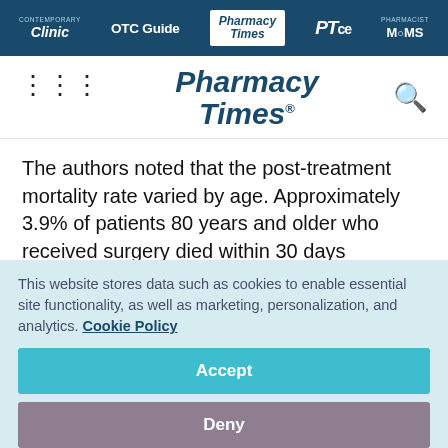Clinic | OTC Guide | Pharmacy Times | PTce | Pharmacist MOMS
[Figure (logo): Pharmacy Times logo with hamburger menu and search icon]
The authors noted that the post-treatment mortality rate varied by age. Approximately 3.9% of patients 80 years and older who received surgery died within 30 days compared with 0.0% of radiation-treated patients
This website stores data such as cookies to enable essential site functionality, as well as marketing, personalization, and analytics. Cookie Policy
Accept
Deny